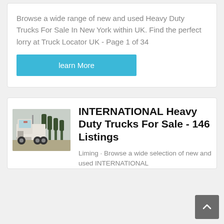Browse a wide range of new and used Heavy Duty Trucks For Sale In New York within UK. Find the perfect lorry at Truck Locator UK - Page 1 of 34
[Figure (other): A cyan/teal 'learn More' button]
[Figure (photo): Photo of a white heavy duty truck cab parked outdoors with trees in the background]
INTERNATIONAL Heavy Duty Trucks For Sale - 146 Listings
Liming · Browse a wide selection of new and used INTERNATIONAL